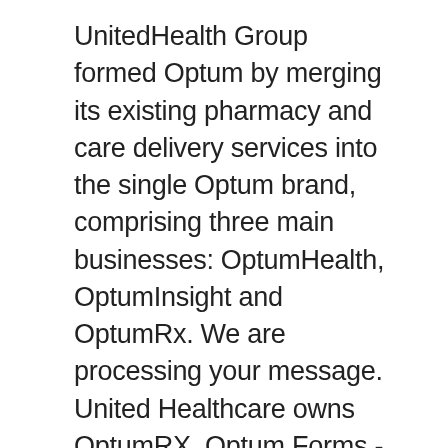UnitedHealth Group formed Optum by merging its existing pharmacy and care delivery services into the single Optum brand, comprising three main businesses: OptumHealth, OptumInsight and OptumRx. We are processing your message. United Healthcare owns OptumRX. Optum Forms - Claims All outpatient and EAP claims should be submitted electronically via Provider Express or EDI. For your convenience, we have created a hardcopy Notification Form that can be emailed to either your Account Manager or to cmc_client_services@optum.com or faxed to Optum at (877) 897-5338. All your tools in one place hassle-free. UnitedHealth Group is a diversified health and well-being company dedicated to helping people live healthier lives. An HSA is designed to work with a qualifying high-deductible health plan (HDHP). ....that means the money in your account is yours to keep, even